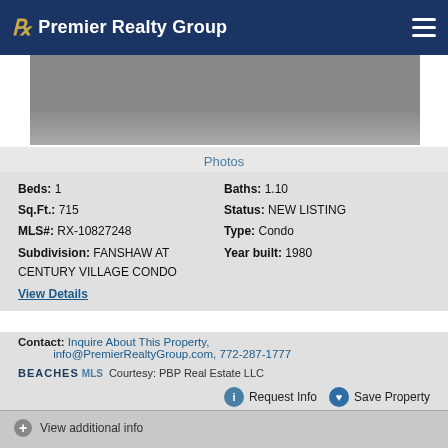Premier Realty Group
[Figure (photo): Property photo - partial view of home interior/exterior]
Photos
Beds: 1   Baths: 1.10
Sq.Ft.: 715   Status: NEW LISTING
MLS#: RX-10827248   Type: Condo
Subdivision: FANSHAW AT CENTURY VILLAGE CONDO   Year built: 1980
View Details
Contact: Inquire About This Property, info@PremierRealtyGroup.com, 772-287-1777
BEACHES MLS  Courtesy: PBP Real Estate LLC
Request Info   Save Property
View additional info